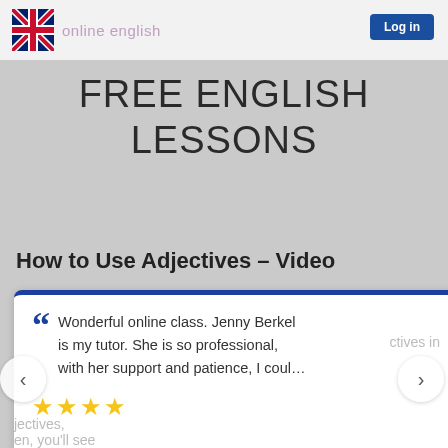[Figure (screenshot): Online English website header with UK flag logo, 'online english' text in pink/mauve, and a blue login button on the right.]
FREE ENGLISH LESSONS
How to Use Adjectives – Video
Wonderful online class. Jenny Berkel is my tutor. She is so professional, with her support and patience, I coul…
★★★★
Tarek Mahmoud
view post
ectives in
jectives, en, you'll see